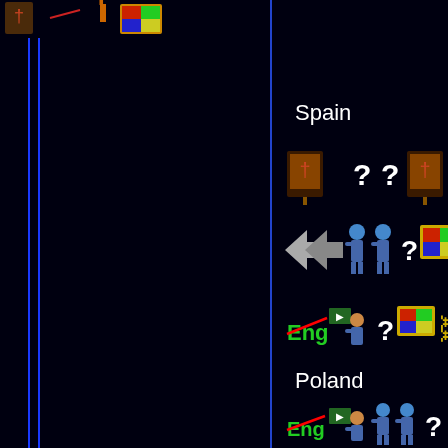[Figure (screenshot): Partial top row of icons cut off at top of page]
Spain
[Figure (screenshot): Spain row 1: painting on easel, two question marks, painting on easel, gold chain icon]
[Figure (screenshot): Spain row 2: double right arrows, two blue figures (people), question mark, color TV framed, TV on stand with antenna]
[Figure (screenshot): Spain row 3: Eng with red strikethrough, person at green blackboard, question mark, color TV framed, gold chain, painting on easel]
Poland
[Figure (screenshot): Poland row 1: Eng with red strikethrough, person at green blackboard, two blue figures (people), question mark]
[Figure (screenshot): Poland row 2 (partially visible): clock/schedule icon, flag icon, question mark, person at blackboard, house icon, rocket/arrow icon]
Russia
[Figure (screenshot): Russia row (partially visible at bottom): flag icon, painting on easel, downward graph on dark background, shopping cart, clock/schedule, timer, color TV framed, question mark]